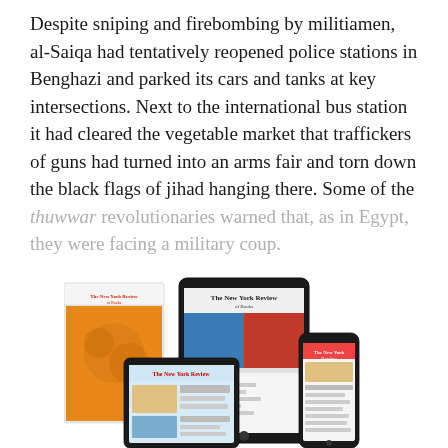Despite sniping and firebombing by militiamen, al-Saiqa had tentatively reopened police stations in Benghazi and parked its cars and tanks at key intersections. Next to the international bus station it had cleared the vegetable market that traffickers of guns had turned into an arms fair and torn down the black flags of jihad hanging there. Some of the thuwwar revolutionaries warned that, as in Egypt, they were facing a military coup.
[Figure (illustration): Marketing image showing The New York Review of Books in print and digital formats: a physical magazine, a tablet, another tablet, and a smartphone, all displaying the publication.]